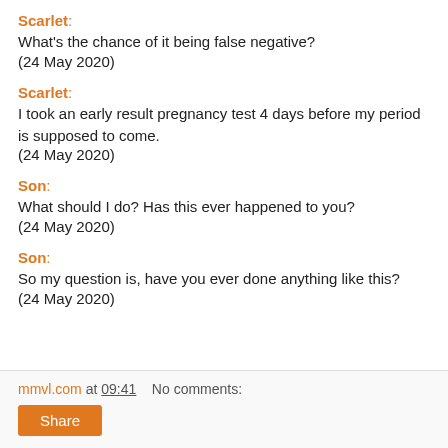Scarlet:
What's the chance of it being false negative?
(24 May 2020)
Scarlet:
I took an early result pregnancy test 4 days before my period is supposed to come.
(24 May 2020)
Son:
What should I do? Has this ever happened to you?
(24 May 2020)
Son:
So my question is, have you ever done anything like this?
(24 May 2020)
mmvl.com at 09:41    No comments:
Share